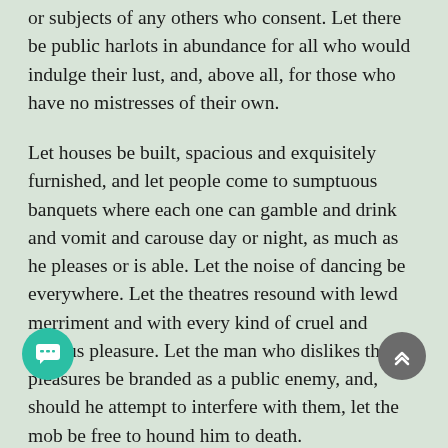or subjects of any others who consent. Let there be public harlots in abundance for all who would indulge their lust, and, above all, for those who have no mistresses of their own.
Let houses be built, spacious and exquisitely furnished, and let people come to sumptuous banquets where each one can gamble and drink and vomit and carouse day or night, as much as he pleases or is able. Let the noise of dancing be everywhere. Let the theatres resound with lewd merriment and with every kind of cruel and vicious pleasure. Let the man who dislikes these pleasures be branded as a public enemy, and, should he attempt to interfere with them, let the mob be free to hound him to death.
Let those rulers be regarded as true gods who devote themselves to giving the people a good time, and guarantee its continuance. Let them be worshiped in the manner they desire, and demand the plays they please, in the company, or at the expense, of their devotees. Only let them